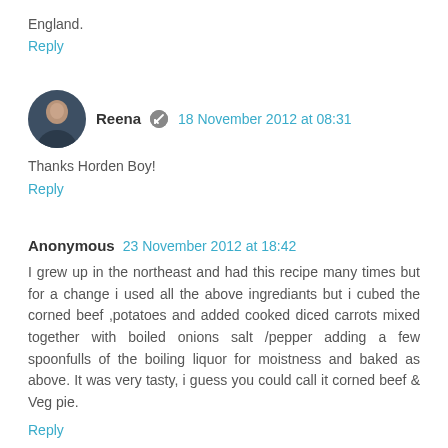England.
Reply
Reena  18 November 2012 at 08:31
Thanks Horden Boy!
Reply
Anonymous  23 November 2012 at 18:42
I grew up in the northeast and had this recipe many times but for a change i used all the above ingrediants but i cubed the corned beef ,potatoes and added cooked diced carrots mixed together with boiled onions salt /pepper adding a few spoonfulls of the boiling liquor for moistness and baked as above. It was very tasty, i guess you could call it corned beef & Veg pie.
Reply